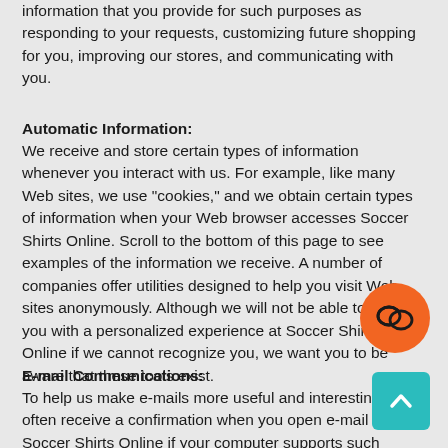information that you provide for such purposes as responding to your requests, customizing future shopping for you, improving our stores, and communicating with you.
Automatic Information:
We receive and store certain types of information whenever you interact with us. For example, like many Web sites, we use "cookies," and we obtain certain types of information when your Web browser accesses Soccer Shirts Online. Scroll to the bottom of this page to see examples of the information we receive. A number of companies offer utilities designed to help you visit Web sites anonymously. Although we will not be able to provide you with a personalized experience at Soccer Shirts Online if we cannot recognize you, we want you to be aware that these tools exist.
E-mail Communications:
To help us make e-mails more useful and interesting, we often receive a confirmation when you open e-mail from Soccer Shirts Online if your computer supports such capabilities. We also compare our customer list to lists received from other companies, in an effort to avoid